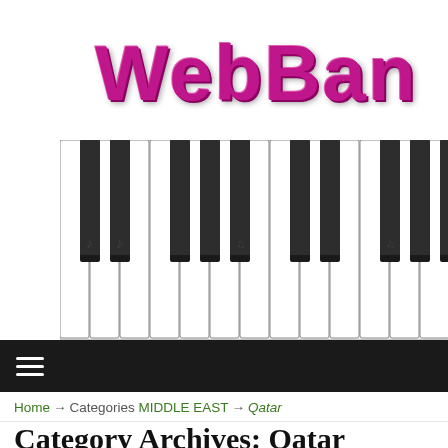[Figure (logo): WebBand music website logo with pink bubbly text 'WebBan' and a piano keyboard image below]
≡
Home → Categories MIDDLE EAST → Qatar
Category Archives: Qatar